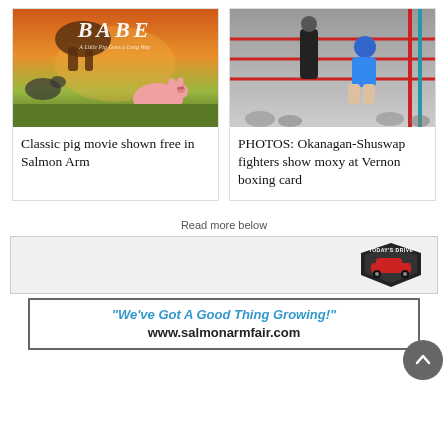[Figure (photo): Movie poster for 'Babe' showing a pig, horse, and farm animals]
Classic pig movie shown free in Salmon Arm
[Figure (photo): Boxing match photo showing Okanagan-Shuswap fighters at Vernon boxing card, one fighter in blue helmet seated on ropes]
PHOTOS: Okanagan-Shuswap fighters show moxy at Vernon boxing card
Read more below
[Figure (logo): Today's Drive logo badge]
[Figure (infographic): Salmon Arm Fair advertisement reading: "We've Got A Good Thing Growing!" www.salmonarmfair.com]